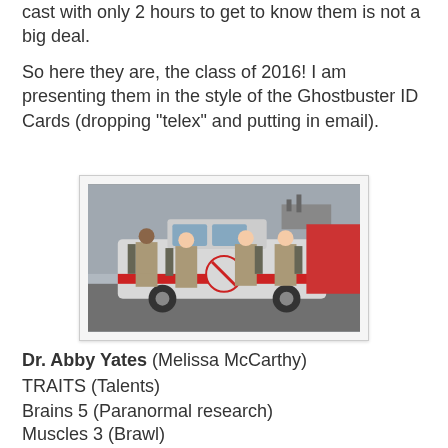cast with only 2 hours to get to know them is not a big deal.
So here they are, the class of 2016!  I am presenting them in the style of the Ghostbuster ID Cards (dropping "telex" and putting in email).
[Figure (photo): Four Ghostbusters cast members in uniform standing in front of the Ecto-1 car on a city street]
Dr. Abby Yates (Melissa McCarthy)
TRAITS (Talents)
Brains 5 (Paranormal research)
Muscles 3 (Brawl)
Moves 3 (Throw things)